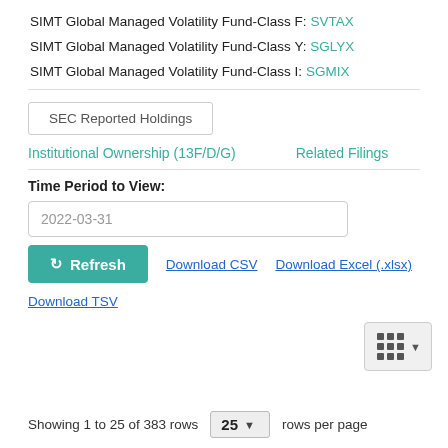SIMT Global Managed Volatility Fund-Class F: SVTAX
SIMT Global Managed Volatility Fund-Class Y: SGLYX
SIMT Global Managed Volatility Fund-Class I: SGMIX
SEC Reported Holdings
Institutional Ownership (13F/D/G)    Related Filings
Time Period to View:
2022-03-31
Refresh   Download CSV   Download Excel (.xlsx)
Download TSV
Showing 1 to 25 of 383 rows  25 ▼  rows per page